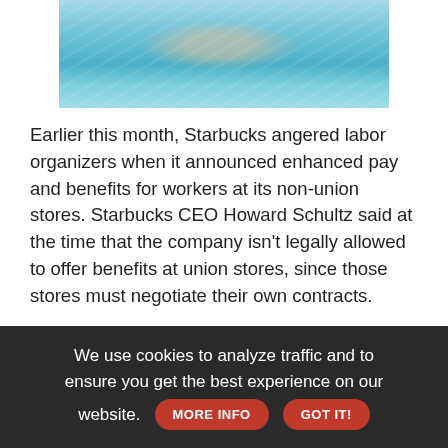[Figure (photo): A person swimming underwater in a pool, viewed from above. The water is blue-green and light refracts through the surface.]
Earlier this month, Starbucks angered labor organizers when it announced enhanced pay and benefits for workers at its non-union stores. Starbucks CEO Howard Schultz said at the time that the company isn't legally allowed to offer benefits at union stores, since those stores must negotiate their own contracts.
We use cookies to analyze traffic and to ensure you get the best experience on our website. MORE INFO GOT IT!